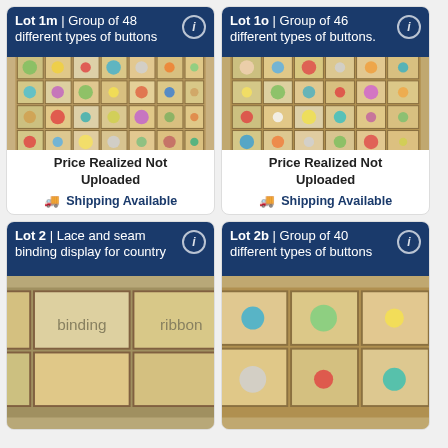Lot 1m | Group of 48 different types of buttons
[Figure (photo): Cardboard tray organizer filled with many compartments containing colorful buttons of various types and sizes]
Price Realized Not Uploaded
Shipping Available
Lot 1o | Group of 46 different types of buttons
[Figure (photo): Cardboard tray organizer filled with many compartments containing colorful buttons of various types and sizes]
Price Realized Not Uploaded
Shipping Available
Lot 2 | Lace and seam binding display for country
[Figure (photo): Partial view of lace and seam binding display]
Lot 2b | Group of 40 different types of buttons
[Figure (photo): Partial view of cardboard tray with colorful buttons]